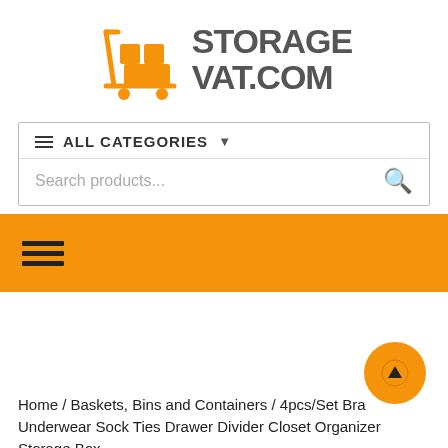[Figure (logo): StorageVAT.com logo with orange warehouse cart icon and bold gray text]
ALL CATEGORIES
Search products...
[Figure (other): Orange navigation bar with hamburger menu icon]
[Figure (other): Orange circular scroll-to-top button with upward arrow]
Home / Baskets, Bins and Containers / 4pcs/Set Bra Underwear Sock Ties Drawer Divider Closet Organizer Storage Box